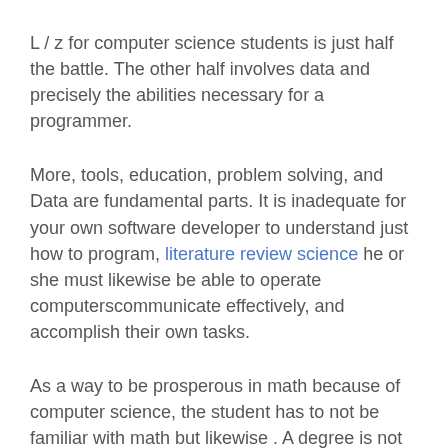L / z for computer science students is just half the battle. The other half involves data and precisely the abilities necessary for a programmer.
More, tools, education, problem solving, and Data are fundamental parts. It is inadequate for your own software developer to understand just how to program, literature review science he or she must likewise be able to operate computerscommunicate effectively, and accomplish their own tasks.
As a way to be prosperous in math because of computer science, the student has to not be familiar with math but likewise . A degree is not sufficient within this area; one has to have sufficient